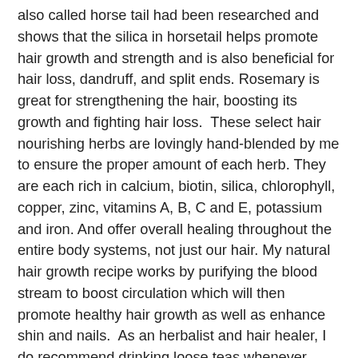also called horse tail had been researched and shows that the silica in horsetail helps promote hair growth and strength and is also beneficial for hair loss, dandruff, and split ends. Rosemary is great for strengthening the hair, boosting its growth and fighting hair loss.  These select hair nourishing herbs are lovingly hand-blended by me to ensure the proper amount of each herb. They are each rich in calcium, biotin, silica, chlorophyll, copper, zinc, vitamins A, B, C and E, potassium and iron. And offer overall healing throughout the entire body systems, not just our hair. My natural hair growth recipe works by purifying the blood stream to boost circulation which will then promote healthy hair growth as well as enhance shin and nails.  As an herbalist and hair healer, I do recommend drinking loose teas whenever possible instead of pre-packaged tea bags. This allows the water to thoroughly extract the healing properties from the herbs without the hindrance of a filtered tea bag. If you're experiencing extreme or advanced hair loss, I recommend you drink at least three cups of my blend per day to rebalance the bloodstream with beneficial nutrients, which helps to begin the healing and